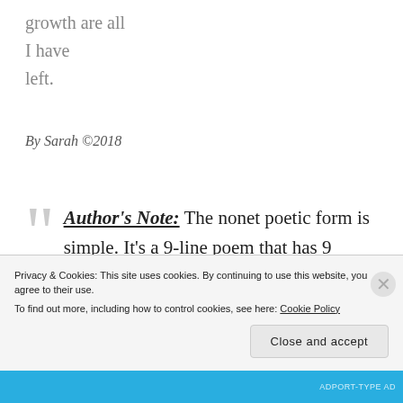growth are all
I have
left.
By Sarah ©2018
Author's Note: The nonet poetic form is simple. It's a 9-line poem that has 9 syllables in the first line, 8 syllables in the second line, 7 syllables in the third line, and continuing...
Privacy & Cookies: This site uses cookies. By continuing to use this website, you agree to their use.
To find out more, including how to control cookies, see here: Cookie Policy
Close and accept